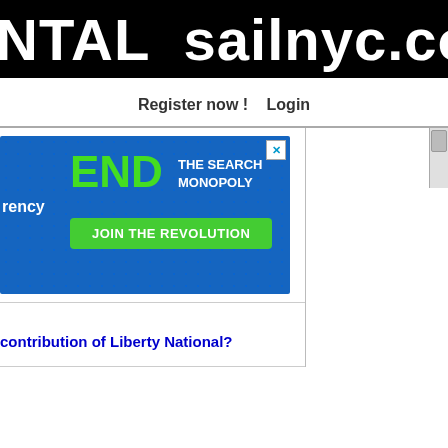NTAL  sailnyc.co
Register now !   Login
[Figure (screenshot): Advertisement banner: blue background with 'END THE SEARCH MONOPOLY' in green/white text and 'JOIN THE REVOLUTION' green button. Close (X) button top right. 'rency' label on left side.]
contribution of Liberty National?